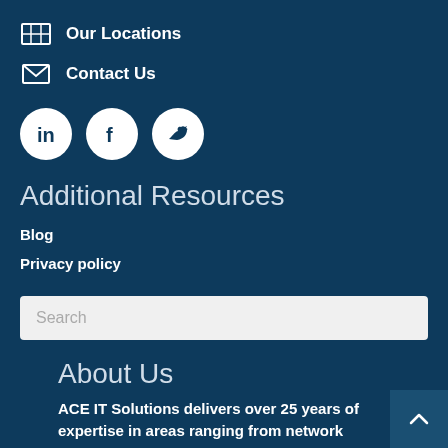Our Locations
Contact Us
[Figure (infographic): Three social media icons in white circles on dark blue background: LinkedIn, Facebook, Twitter]
Additional Resources
Blog
Privacy policy
Search
About Us
ACE IT Solutions delivers over 25 years of expertise in areas ranging from network